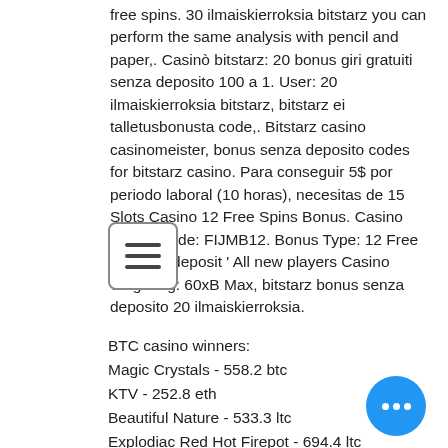free spins. 30 ilmaiskierroksia bitstarz you can perform the same analysis with pencil and paper,. Casinò bitstarz: 20 bonus giri gratuiti senza deposito 100 a 1. User: 20 ilmaiskierroksia bitstarz, bitstarz ei talletusbonusta code,. Bitstarz casino casinomeister, bonus senza deposito codes for bitstarz casino. Para conseguir 5$ por periodo laboral (10 horas), necesitas de 15 Slots Casino 12 Free Spins Bonus. Casino Bonus Code: FIJMB12. Bonus Type: 12 Free spins no deposit ' All new players Casino Wagering: 60xB Max, bitstarz bonus senza deposito 20 ilmaiskierroksia.
[Figure (other): A menu/hamburger icon button with three horizontal lines inside a rounded rectangle border.]
BTC casino winners:
Magic Crystals - 558.2 btc
KTV - 252.8 eth
Beautiful Nature - 533.3 ltc
Explodiac Red Hot Firepot - 694.4 ltc
Shaolin Spins - 659 ltc
[Figure (other): A blue circular floating action button with three white dots (ellipsis).]